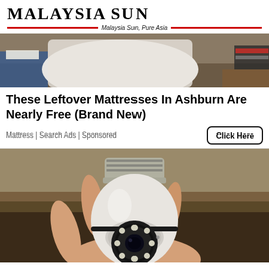Malaysia Sun — Malaysia Sun, Pure Asia
[Figure (photo): Partial view of people sitting, torso visible, indoor setting]
These Leftover Mattresses In Ashburn Are Nearly Free (Brand New)
Mattress | Search Ads | Sponsored
[Figure (photo): A hand holding a white light-bulb shaped security camera with LED ring around the lens]